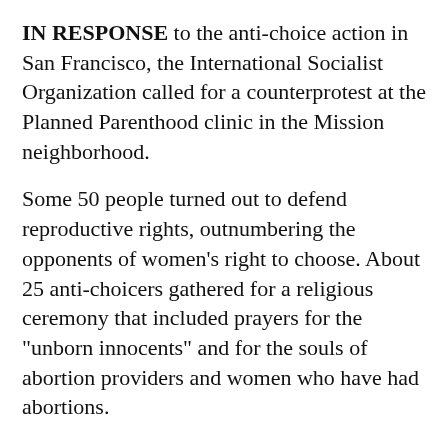IN RESPONSE to the anti-choice action in San Francisco, the International Socialist Organization called for a counterprotest at the Planned Parenthood clinic in the Mission neighborhood.
Some 50 people turned out to defend reproductive rights, outnumbering the opponents of women's right to choose. About 25 anti-choicers gathered for a religious ceremony that included prayers for the "unborn innocents" and for the souls of abortion providers and women who have had abortions.
Two weeks earlier, the same Planned Parenthood was the site a louder and more confrontational picket of anti-choice bigots. Some 300 pro-choice supporters turned out on February 11 to counterprotest those anti-abortion forces who assembled as part of a national day of action to defund Planned Parenthood.
While the numbers were smaller at the hastily